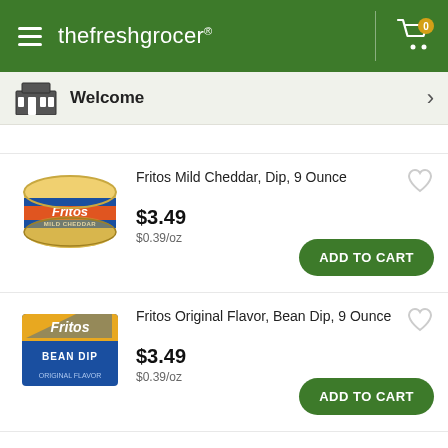the fresh grocer
Welcome
[Figure (photo): Fritos Mild Cheddar Dip product image - round container]
Fritos Mild Cheddar, Dip, 9 Ounce
$3.49
$0.39/oz
[Figure (photo): Fritos Original Flavor Bean Dip product image - rectangular package]
Fritos Original Flavor, Bean Dip, 9 Ounce
$3.49
$0.39/oz